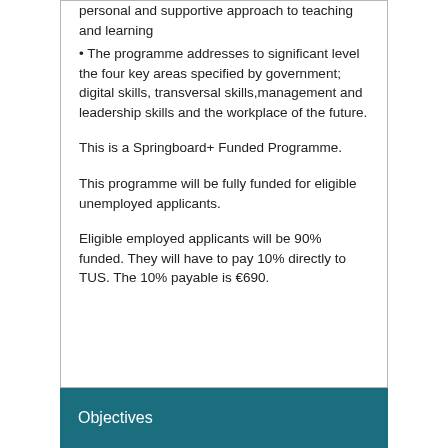personal and supportive approach to teaching and learning
• The programme addresses to significant level the four key areas specified by government; digital skills, transversal skills,management and leadership skills and the workplace of the future.
This is a Springboard+ Funded Programme.
This programme will be fully funded for eligible unemployed applicants.
Eligible employed applicants will be 90% funded. They will have to pay 10% directly to TUS. The 10% payable is €690.
Objectives